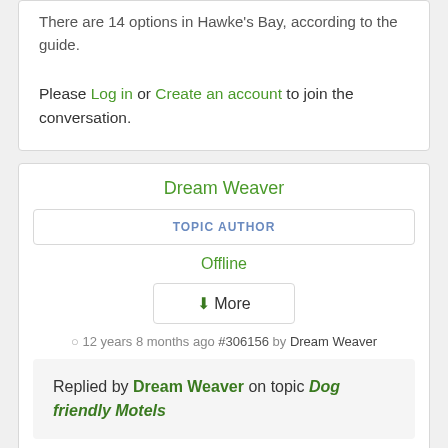There are 14 options in Hawke's Bay, according to the guide.
Please Log in or Create an account to join the conversation.
Dream Weaver
TOPIC AUTHOR
Offline
More
12 years 8 months ago #306156 by Dream Weaver
Replied by Dream Weaver on topic Dog friendly Motels
Thanks DG :)